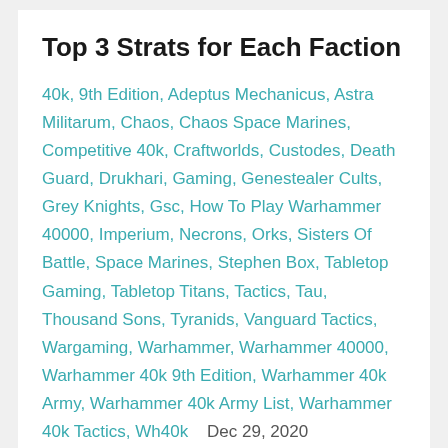Top 3 Strats for Each Faction
40k, 9th Edition, Adeptus Mechanicus, Astra Militarum, Chaos, Chaos Space Marines, Competitive 40k, Craftworlds, Custodes, Death Guard, Drukhari, Gaming, Genestealer Cults, Grey Knights, Gsc, How To Play Warhammer 40000, Imperium, Necrons, Orks, Sisters Of Battle, Space Marines, Stephen Box, Tabletop Gaming, Tabletop Titans, Tactics, Tau, Thousand Sons, Tyranids, Vanguard Tactics, Wargaming, Warhammer, Warhammer 40000, Warhammer 40k 9th Edition, Warhammer 40k Army, Warhammer 40k Army List, Warhammer 40k Tactics, Wh40k    Dec 29, 2020